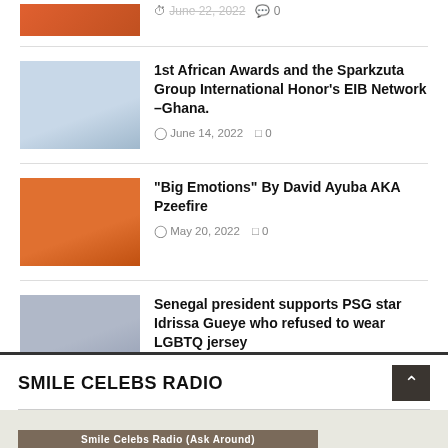[Figure (photo): Partial thumbnail image at top of page, cut off]
1st African Awards and the Sparkzuta Group International Honor's EIB Network –Ghana. June 14, 2022  0
"Big Emotions" By David Ayuba AKA Pzeefire  May 20, 2022  0
Senegal president supports PSG star Idrissa Gueye who refused to wear LGBTQ jersey  May 18, 2022  0
SMILE CELEBS RADIO
Smile Celebs Radio (Ask Around)